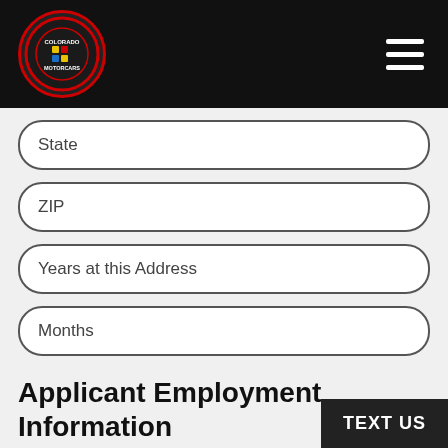[Figure (logo): Colorado Motorcars circular logo with red border on black header bar, hamburger menu icon on right]
State
ZIP
Years at this Address
Months
Applicant Employment Information
Current Employer
Position
TEXT US